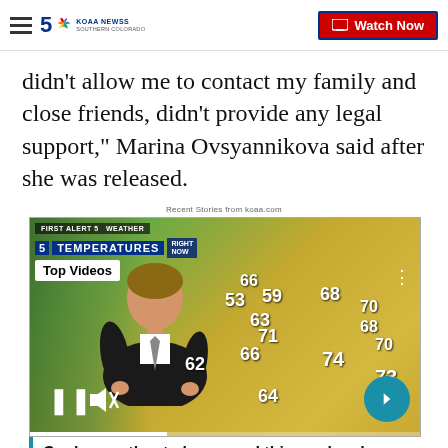KOAA News5 Southern Colorado | Watch Now
didn't allow me to contact my family and close friends, didn't provide any legal support," Marina Ovsyannikova said after she was released.
Recent Stories from koaa.com
[Figure (screenshot): TV weather broadcast screenshot showing a meteorologist standing in front of a weather map with temperature readings across Southern Colorado. Numbers visible: 66, 53, 59, 68, 70, 63, 71, 68, 70, 66, 74, 70, 62, 73, 64. Labels: FIRST ALERT 5 WEATHER, TEMPERATURES, RIGHT NOW. Top Videos badge visible. Pause and mute controls shown at bottom left. Next arrow button at bottom right.]
Cooler weather to be around this weekend